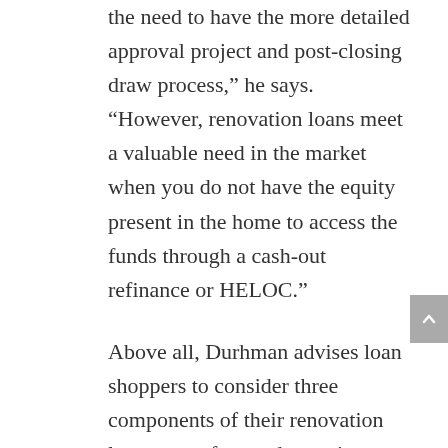the need to have the more detailed approval project and post-closing draw process,” he says. “However, renovation loans meet a valuable need in the market when you do not have the equity present in the home to access the funds through a cash-out refinance or HELOC.”
Above all, Durhman advises loan shoppers to consider three components of their renovation loan: rates, fees and turn-times on the underwriting. This will give you a clear idea of how much the project is going to cost you, and how long it’s going to take,